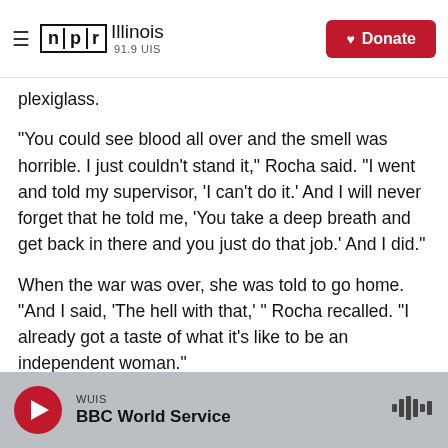NPR Illinois 91.9 UIS | Donate
plexiglass.
"You could see blood all over and the smell was horrible. I just couldn't stand it," Rocha said. "I went and told my supervisor, 'I can't do it.' And I will never forget that he told me, 'You take a deep breath and get back in there and you just do that job.' And I did."
When the war was over, she was told to go home. "And I said, 'The hell with that,' " Rocha recalled. "I already got a taste of what it's like to be an independent woman."
WUIS BBC World Service